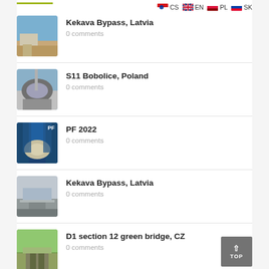[Figure (other): Thumbnail image of Kekava Bypass Latvia construction site with sky]
Kekava Bypass, Latvia
0 comments
[Figure (other): Thumbnail image of S11 Bobolice Poland tunnel construction]
S11 Bobolice, Poland
0 comments
[Figure (other): Thumbnail image labeled PF with tunnel/winter scene]
PF 2022
0 comments
[Figure (other): Thumbnail image of Kekava Bypass Latvia road infrastructure]
Kekava Bypass, Latvia
0 comments
[Figure (other): Thumbnail image of D1 section 12 green bridge CZ aerial view]
D1 section 12 green bridge, CZ
0 comments